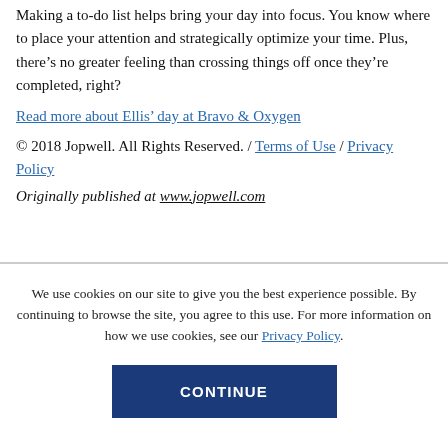Making a to-do list helps bring your day into focus. You know where to place your attention and strategically optimize your time. Plus, there’s no greater feeling than crossing things off once they’re completed, right?
Read more about Ellis’ day at Bravo & Oxygen
© 2018 Jopwell. All Rights Reserved. / Terms of Use / Privacy Policy
Originally published at www.jopwell.com
We use cookies on our site to give you the best experience possible. By continuing to browse the site, you agree to this use. For more information on how we use cookies, see our Privacy Policy.
CONTINUE